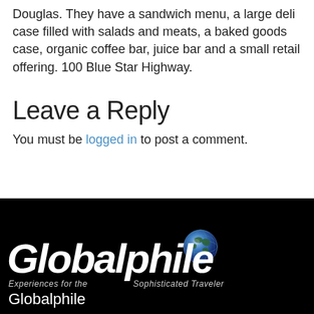Douglas. They have a sandwich menu, a large deli case filled with salads and meats, a baked goods case, organic coffee bar, juice bar and a small retail offering. 100 Blue Star Highway.
Leave a Reply
You must be logged in to post a comment.
[Figure (logo): Globalphile logo with globe icon, italic bold white text on black background. Tagline: Experiences for the Sophisticated Traveler. Footer text: Globalphile]